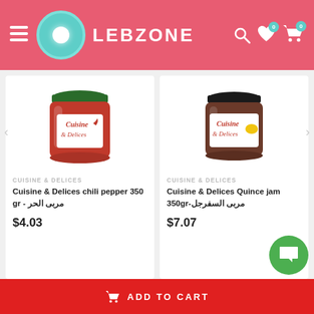LEBZONE
[Figure (photo): Product card: Cuisine & Delices chili pepper jam jar, 350gr, with green lid, red label]
CUISINE & DELICES
Cuisine & Delices chili pepper 350 gr - مربى الحر
$4.03
[Figure (photo): Product card: Cuisine & Delices Quince jam jar, 350gr, dark lid]
CUISINE & DELICES
Cuisine & Delices Quince jam 350gr-مربى السفرجل
$7.07
Our Recommended...